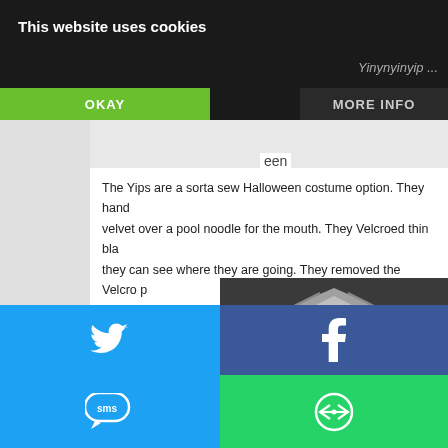[Figure (screenshot): Dark top image strip partially visible at top right]
This website uses cookies
Yinynyinyip ...
OKAY
MORE INFO
een
The Yips are a sorta sew Halloween costume option. They hand velvet over a pool noodle for the mouth. They Velcroed thin bla they can see where they are going. They removed the Velcro p
[Figure (photo): Outdoor photo under a canopy tent with people visible]
[Figure (infographic): Social share buttons: Twitter (blue), Facebook (dark blue), Email (gray), WhatsApp (green), SMS (blue), More (green)]